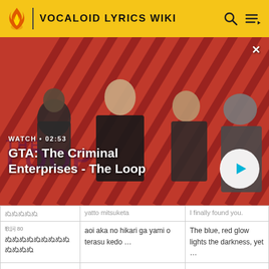VOCALOID LYRICS WIKI
[Figure (screenshot): Video thumbnail for GTA: The Criminal Enterprises - The Loop. Shows four characters on a red diagonal-striped background. A play button is visible on the right. Text shows WATCH • 02:53 and the title GTA: The Criminal Enterprises - The Loop.]
|  |  |  |
| --- | --- | --- |
| ぬぬぬぬぬ | yatto mitsuketа | I finally found you. |
| 歌詞 80
ぬぬぬぬぬぬぬぬぬぬぬぬぬ | aoi aka no hikari ga yami o terasu kedo … | The blue, red glow lights the darkness, yet … |